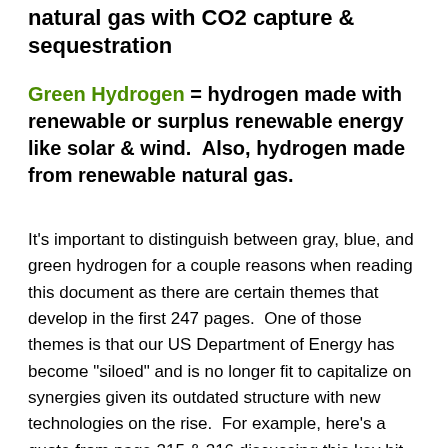natural gas with CO2 capture & sequestration
Green Hydrogen = hydrogen made with renewable or surplus renewable energy like solar & wind.  Also, hydrogen made from renewable natural gas.
It's important to distinguish between gray, blue, and green hydrogen for a couple reasons when reading this document as there are certain themes that develop in the first 247 pages.  One of those themes is that our US Department of Energy has become “siloed” and is no longer fit to capitalize on synergies given its outdated structure with new technologies on the rise.  For example, here's a quote from page 215 & 216 discussing this key bit of information: